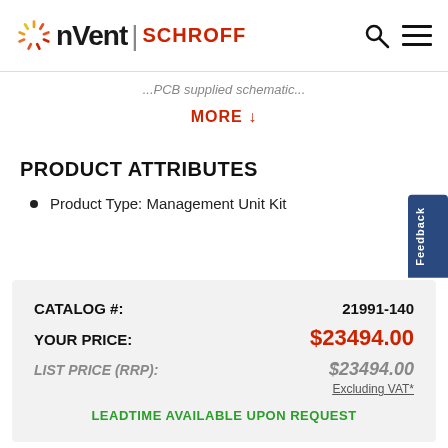nVent | SCHROFF
...PCB supplied schematic...
MORE ↓
PRODUCT ATTRIBUTES
Product Type: Management Unit Kit
| Label | Value |
| --- | --- |
| CATALOG #: | 21991-140 |
| YOUR PRICE: | $23494.00 |
| LIST PRICE (RRP): | $23494.00 |
|  | Excluding VAT* |
| LEADTIME AVAILABLE UPON REQUEST |  |